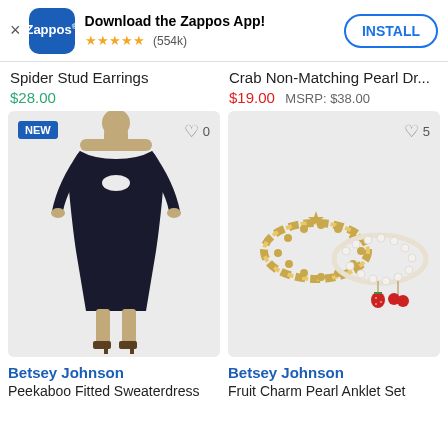[Figure (screenshot): Zappos app download banner with logo, star rating (554k reviews), and INSTALL button]
Spider Stud Earrings
$28.00
Crab Non-Matching Pearl Dr...
$19.00  MSRP: $38.00
[Figure (photo): Woman wearing black Peekaboo Fitted Sweaterdress by Betsey Johnson, with NEW badge and heart icon showing 0 likes]
[Figure (photo): Betsey Johnson Fruit Charm Pearl Anklet Set - gold chain and pearl anklets with red cherry/strawberry charms, heart icon showing 5 likes]
Betsey Johnson
Peekaboo Fitted Sweaterdress
Betsey Johnson
Fruit Charm Pearl Anklet Set